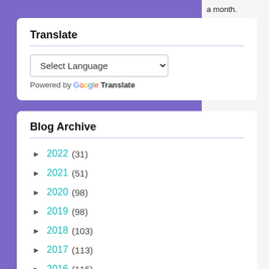Translate
Select Language
Powered by Google Translate
Blog Archive
► 2022 (31)
► 2021 (51)
► 2020 (98)
► 2019 (98)
► 2018 (103)
► 2017 (113)
► 2016 (115)
► 2015 (129)
▼ 2014 (103)
► December (13)
a month. share with only part o share my and I also on the loo
Pure Ice:
I took th
What nail